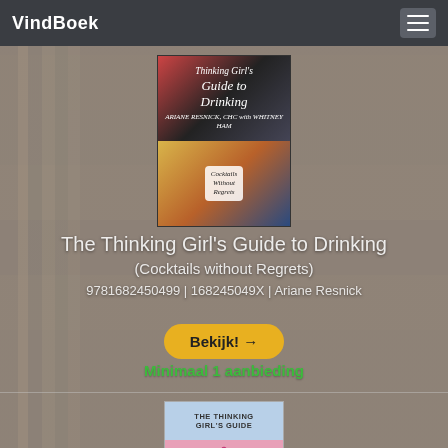VindBoek
[Figure (photo): Book cover of The Thinking Girl's Guide to Drinking (Cocktails without Regrets) by Ariane Resnick]
The Thinking Girl's Guide to Drinking
(Cocktails without Regrets)
9781682450499 | 168245049X | Ariane Resnick
Bekijk! →
Minimaal 1 aanbieding
[Figure (photo): Book cover of The Thinking Girl's Guide to Feminism]